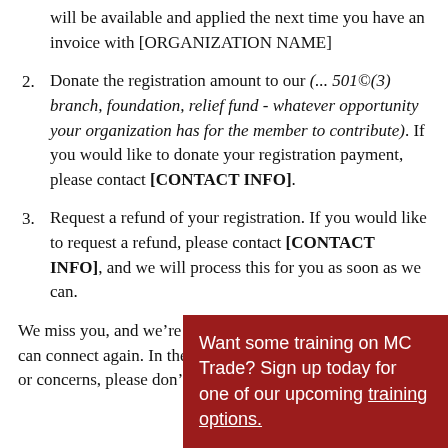will be available and applied the next time you have an invoice with [ORGANIZATION NAME]
2. Donate the registration amount to our (... 501©(3) branch, foundation, relief fund - whatever opportunity your organization has for the member to contribute). If you would like to donate your registration payment, please contact [CONTACT INFO].
3. Request a refund of your registration. If you would like to request a refund, please contact [CONTACT INFO], and we will process this for you as soon as we can.
We miss you, and we're looking forward to a time when we can connect again. In the meantime, if you have questions or concerns, please don't hesitate to reach out. the coming
Want some training on MC Trade? Sign up today for one of our upcoming training options.